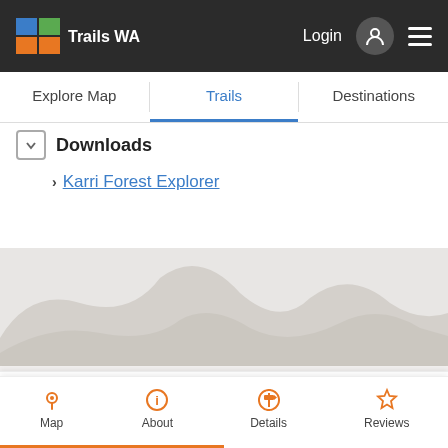Trails WA — Login navigation bar
Explore Map | Trails | Destinations
Downloads
Karri Forest Explorer
[Figure (illustration): Greyed terrain/hills silhouette map background]
Be trail ready for Boodelup
Map | About | Details | Reviews